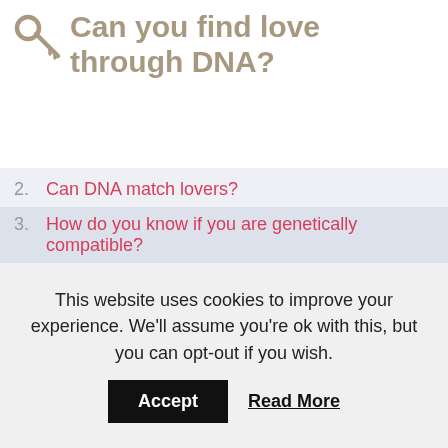Can you find love through DNA?
2. Can DNA match lovers?
3. How do you know if you are genetically compatible?
4. How much does a gene test cost?
5. Can you smell someones immune system?
6. Which DNA test is most accurate?
However, despite the fact that there are already dating companies that claim to utilise DNA testing, the technology just isnt there. Matthew Cobb at the University of Manchester, author of The Idea of the Brain, says it
This website uses cookies to improve your experience. We'll assume you're ok with this, but you can opt-out if you wish.